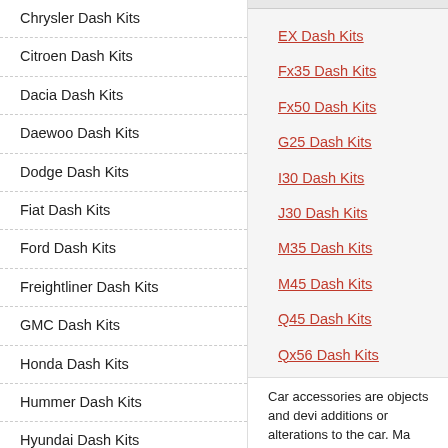Chrysler Dash Kits
Citroen Dash Kits
Dacia Dash Kits
Daewoo Dash Kits
Dodge Dash Kits
Fiat Dash Kits
Ford Dash Kits
Freightliner Dash Kits
GMC Dash Kits
Honda Dash Kits
Hummer Dash Kits
Hyundai Dash Kits
Infiniti Dash Kits
Isuzu Dash Kits
Jaguar Dash Kits
Jeep Dash Kits
KIA Dash Kits
EX Dash Kits
Fx35 Dash Kits
Fx50 Dash Kits
G25 Dash Kits
I30 Dash Kits
J30 Dash Kits
M35 Dash Kits
M45 Dash Kits
Q45 Dash Kits
Qx56 Dash Kits
Car accessories are objects and devices additions or alterations to the car. Many enhancing the aesthetic appeal. Car b and the costs involved. At times, it be
Infiniti accessories from CARiD.com r